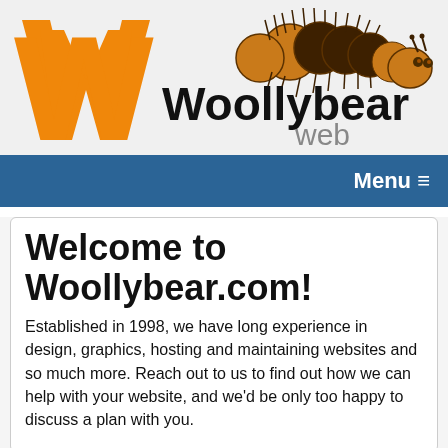[Figure (logo): Woollybear Web logo with orange W letter, woolly bear caterpillar illustration, and text 'Woollybear web']
Menu ≡
Welcome to Woollybear.com!
Established in 1998, we have long experience in design, graphics, hosting and maintaining websites and so much more. Reach out to us to find out how we can help with your website, and we'd be only too happy to discuss a plan with you.
A note about COVID-19